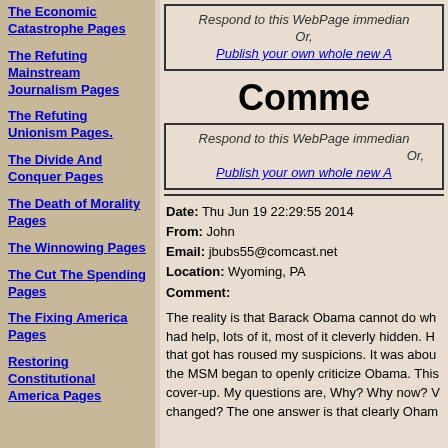The Economic Catastrophe Pages
The Refuting Mainstream Journalism Pages
The Refuting Unionism Pages.
The Divide And Conquer Pages
The Death of Morality Pages
The Winnowing Pages
The Cut The Spending Pages
The Fixing America Pages
Restoring Constitutional America Pages
Respond to this WebPage immedian
Or,
Publish your own whole new A
Comme
Respond to this WebPage immedian
Or,
Publish your own whole new A
Date:  Thu Jun 19 22:29:55 2014
From:  John
Email:  jbubs55@comcast.net
Location:  Wyoming, PA
Comment:
The reality is that Barack Obama cannot do wh had help, lots of it, most of it cleverly hidden. H that got has roused my suspicions. It was abou the MSM began to openly criticize Obama. This cover-up. My questions are, Why? Why now? V changed? The one answer is that clearly Oham